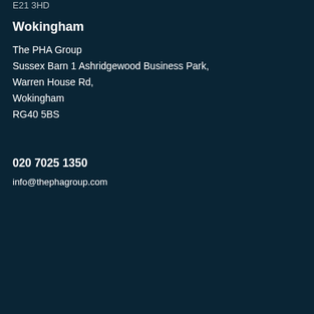E21 3HD
Wokingham
The PHA Group
Sussex Barn 1 Ashridgewood Business Park,
Warren House Rd,
Wokingham
RG40 5BS
020 7025 1350
info@thephagroup.com
This website uses cookies to ensure you get the best experience on our website.
Learn more
Got it
Ge
Ema
First name